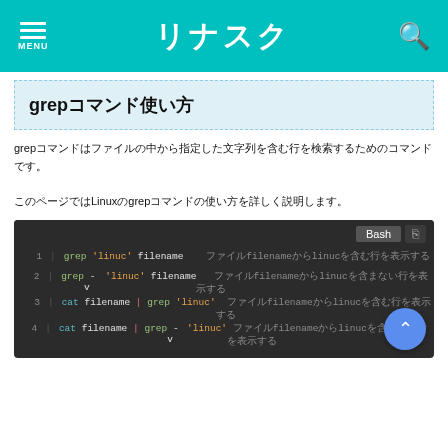リナスク
grepコマンド使い方
grepコマンドはファイルの中から指定した文字列を含む行を検索するためのコマンドです。
このページではLinuxのgrepコマンドの使い方を詳しく説明します。
[Figure (screenshot): Code block showing grep command examples in Bash with syntax highlighting. Lines: 1) grep 'linuc' filename, 2) grep -v 'linuc' filename, 3) cat filename | grep 'linuc', 4) cat filename | grep -v 'linuc']